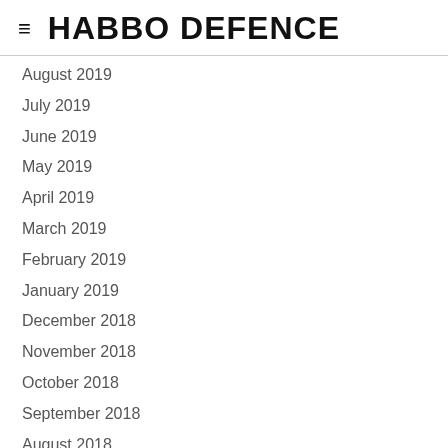≡ HABBO DEFENCE
August 2019
July 2019
June 2019
May 2019
April 2019
March 2019
February 2019
January 2019
December 2018
November 2018
October 2018
September 2018
August 2018
June 2018
May 2018
April 2018
March 2018